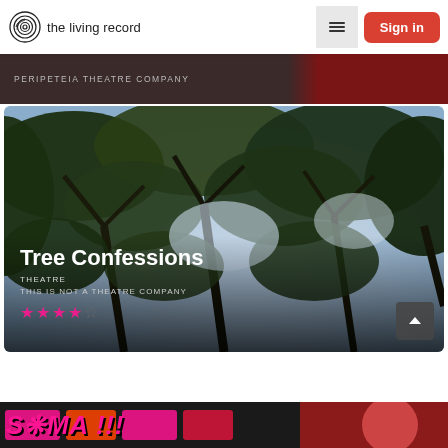the living record
PERIPETEIA THEATRE COMPANY
[Figure (photo): Tree canopy photograph looking upward through branches and leaves with sky visible, card for 'Tree Confessions' show]
Tree Confessions
THEATRE
THIS IS NOT A THEATRE COMPANY
★★★★☆ (4 out of 5 stars)
[Figure (photo): Bottom strip showing colorful text in pink/magenta italic bold font on dark background with partial image on right]